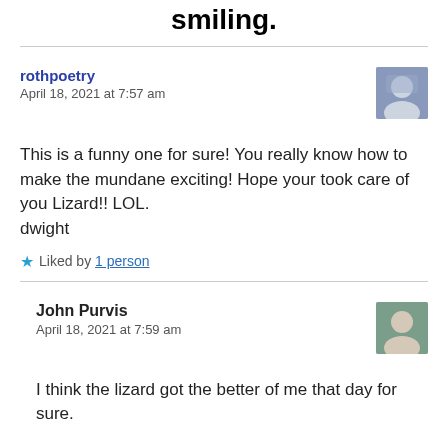smiling.
rothpoetry
April 18, 2021 at 7:57 am
This is a funny one for sure! You really know how to make the mundane exciting! Hope your took care of you Lizard!! LOL.
dwight
Liked by 1 person
John Purvis
April 18, 2021 at 7:59 am
I think the lizard got the better of me that day for sure.